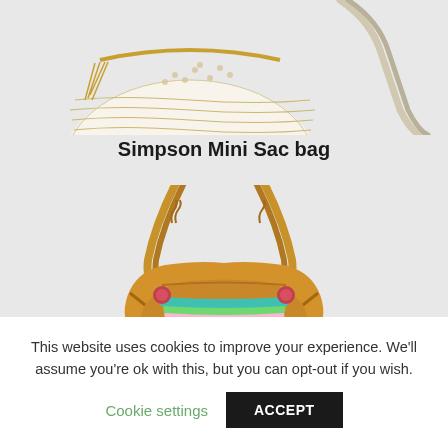[Figure (photo): Partial top view of a white and tan straw/wicker handbag with gold trim, tassels, and a rope strap on a light gray background]
Simpson Mini Sac bag
[Figure (photo): Tan leather bucket bag with braided handles and colorful multicolor stripe pattern (pink, teal, white, green) on the body, shown on a light gray background — partially cropped at bottom]
This website uses cookies to improve your experience. We'll assume you're ok with this, but you can opt-out if you wish.
Cookie settings
ACCEPT